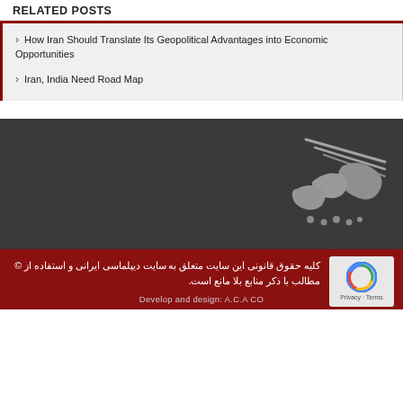RELATED POSTS
How Iran Should Translate Its Geopolitical Advantages into Economic Opportunities
Iran, India Need Road Map
[Figure (logo): Persian/Arabic calligraphic logo in white/grey on dark background]
کلیه حقوق قانونی این سایت متعلق به سایت دیپلماسی ایرانی و استفاده از © مطالب با ذکر منابع بلا مانع است.
Develop and design: A.C.A CO